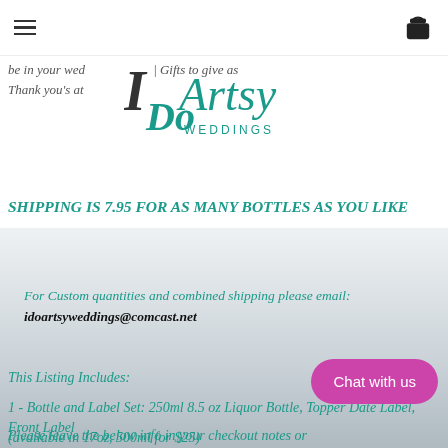Navigation bar with hamburger menu and cart icon
be in your wed ... | Gifts to give as
Thank you's at ...
[Figure (logo): I Do Artsy Weddings logo with teal and gray lettering]
SHIPPING IS 7.95 FOR AS MANY BOTTLES AS YOU LIKE
For Custom quantities and combined shipping please email: idoartsyweddings@comcast.net
This Listing Includes:
1 - Bottle and Label Set: 250ml 8.5 oz Liquor Bottle, Topper Date Label, Front Label
(available in 17oz, 500ml for $25)
Please leave the below info in your checkout notes or